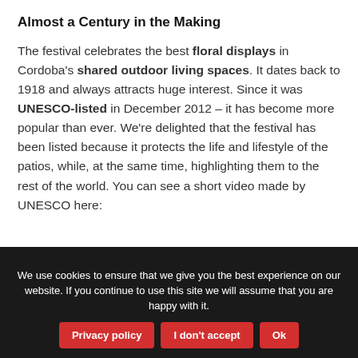Almost a Century in the Making
The festival celebrates the best floral displays in Cordoba's shared outdoor living spaces. It dates back to 1918 and always attracts huge interest. Since it was UNESCO-listed in December 2012 – it has become more popular than ever. We're delighted that the festival has been listed because it protects the life and lifestyle of the patios, while, at the same time, highlighting them to the rest of the world. You can see a short video made by UNESCO here:
[Figure (screenshot): YouTube video thumbnail showing 'La fiesta de los patios de Córd...' with UNESCO circular logo icon on blue background, overlaid on patio courtyard imagery]
We use cookies to ensure that we give you the best experience on our website. If you continue to use this site we will assume that you are happy with it.